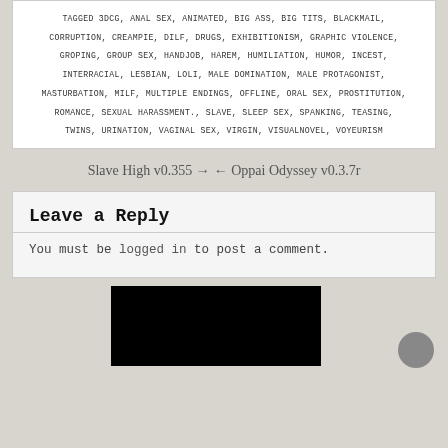TAGGED 3DCG, ANAL SEX, ANIMATED, BIG ASS, BIG TITS, BLACKMAIL, CORRUPTION, CREAMPIE, DILF, DRUGS, EXHIBITIONISM, GRAPHIC VIOLENCE, GROPING, GROUP SEX, HANDJOB, HAREM, HUMILIATION, HUMOR, INCEST, INTERRACIAL, LESBIAN, LOLI, MALE DOMINATION, MALE PROTAGONIST, MASTURBATION, MILF, MULTIPLE ENDINGS, OFFLINE, ORAL SEX, PROSTITUTION, ROMANCE, SEXUAL HARASSMENT., SLAVE, SLEEP SEX, SPANKING, TEASING, TWINS, URINATION, VAGINAL SEX, VIRGIN, VISUALNOVEL, VOYEURISM
Slave High v0.355 →
← Oppai Odyssey v0.3.7r
Leave a Reply
You must be logged in to post a comment.
[Figure (other): Black video thumbnail placeholder at bottom of page with a circular grey button on the right]